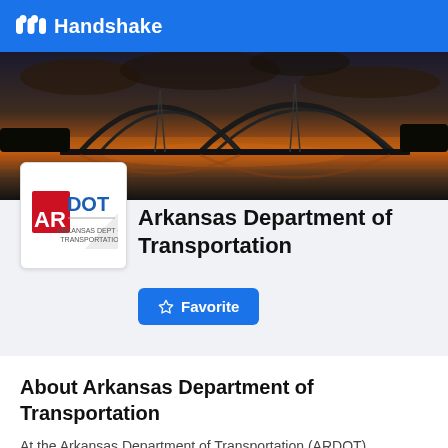Handshake
[Figure (photo): Sunset panoramic photo of an arch bridge over a river with orange/red sky reflected in the water]
[Figure (logo): ARDOT (Arkansas Department of Transportation) logo - red square with AR and blue DOT text]
Arkansas Department of Transportation
Favorite
Overview
Reviews 7
Q&A
About Arkansas Department of Transportation
At the Arkansas Department of Transportation (ARDOT)